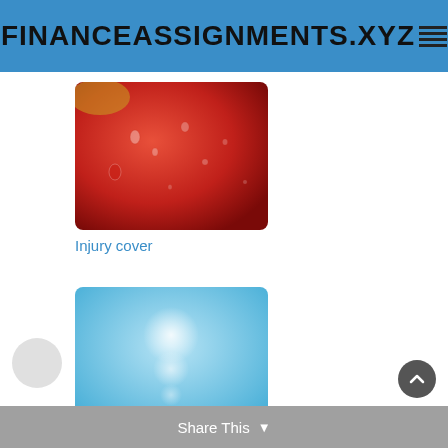FINANCEASSIGNMENTS.XYZ
[Figure (photo): Close-up photo of a red apple surface with water droplets]
Injury cover
[Figure (photo): Abstract light blue background with soft white bokeh light spots]
Income tax
Share This